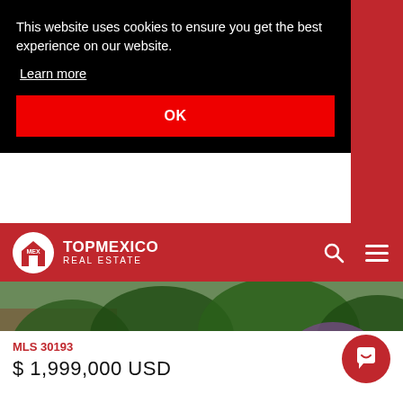This website uses cookies to ensure you get the best experience on our website.
Learn more
OK
[Figure (logo): Top Mexico Real Estate logo with MEX house icon on red navigation bar]
[Figure (photo): Lush garden with green lawn, tropical plants, trees, and a building visible in the background]
MLS 30193
$ 1,999,000 USD